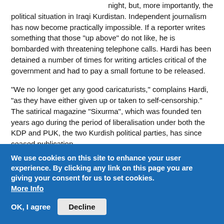night, but, more importantly, the political situation in Iraqi Kurdistan. Independent journalism has now become practically impossible. If a reporter writes something that those "up above" do not like, he is bombarded with threatening telephone calls. Hardi has been detained a number of times for writing articles critical of the government and had to pay a small fortune to be released.
"We no longer get any good caricaturists," complains Hardi, "as they have either given up or taken to self-censorship." The satirical magazine "Sixurma", which was founded ten years ago during the period of liberalisation under both the KDP and PUK, the two Kurdish political parties, has since ceased publication.
After the fall of Saddam Hussein in 2003, the Kurdish authorities promoted the goal of democratisation of their autonomous region. Now, the Kurdish population is experiencing a return to autocratic structures. The developments in Kurdish northern Iraq with respect to freedom of expression and of the press are moving in a contrary direction to those in
We use cookies on this site to enhance your user experience. By clicking any link on this page you are giving your consent for us to set cookies. More Info
OK, I agree   Decline